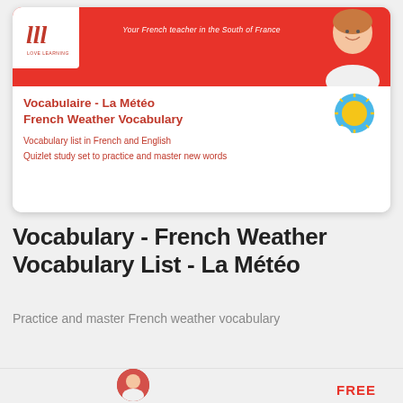[Figure (screenshot): Screenshot of a French language learning resource card with red banner, teacher photo, logo, title 'Vocabulaire - La Météo / French Weather Vocabulary', subtitle lines, and weather icon (sun/cloud).]
Vocabulary - French Weather Vocabulary List - La Météo
Practice and master French weather vocabulary